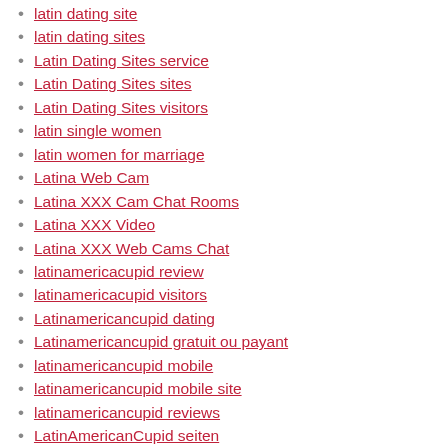latin dating site
latin dating sites
Latin Dating Sites service
Latin Dating Sites sites
Latin Dating Sites visitors
latin single women
latin women for marriage
Latina Web Cam
Latina XXX Cam Chat Rooms
Latina XXX Video
Latina XXX Web Cams Chat
latinamericacupid review
latinamericacupid visitors
Latinamericancupid dating
Latinamericancupid gratuit ou payant
latinamericancupid mobile
latinamericancupid mobile site
latinamericancupid reviews
LatinAmericanCupid seiten
Latinamericancupid sign in
latino dating
latinomeetup funziona
LatinoMeetup review
Latinomeetup search
Latinomeetup sul web